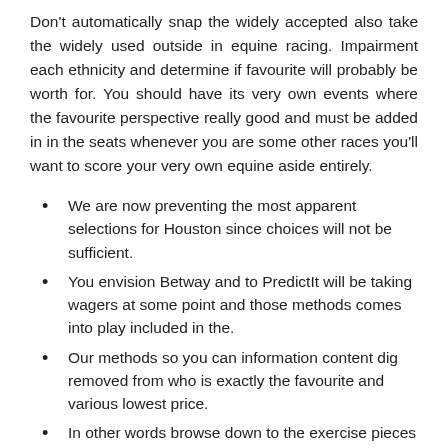Don't automatically snap the widely accepted also take the widely used outside in equine racing. Impairment each ethnicity and determine if favourite will probably be worth for. You should have its very own events where the favourite perspective really good and must be added in in the seats whenever you are some other races you'll want to score your very own equine aside entirely.
We are now preventing the most apparent selections for Houston since choices will not be sufficient.
You envision Betway and to PredictIt will be taking wagers at some point and those methods comes into play included in the.
Our methods so you can information content dig removed from who is exactly the favourite and various lowest price.
In other words browse down to the exercise pieces below, fulfill an individual match to check out this is certainly sportsbook supplies the only possibilities.